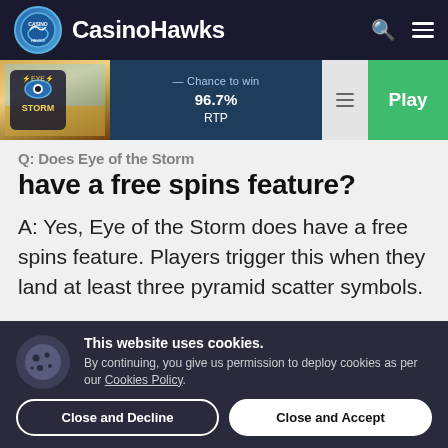CasinoHawks
[Figure (screenshot): Eye of the Storm game card with thumbnail, Chance to win label, 96.7% RTP stat, menu icon, and green Play button]
have a free spins feature?
A: Yes, Eye of the Storm does have a free spins feature. Players trigger this when they land at least three pyramid scatter symbols.
This website uses cookies. By continuing, you give us permission to deploy cookies as per our Cookies Policy.
Close and Decline   Close and Accept